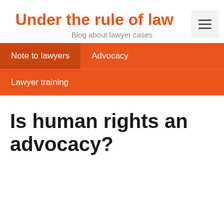Under the rule of law
Blog about lawyer cases
Note to lawyers
Advocacy
Lawyer training
Is human rights an advocacy?